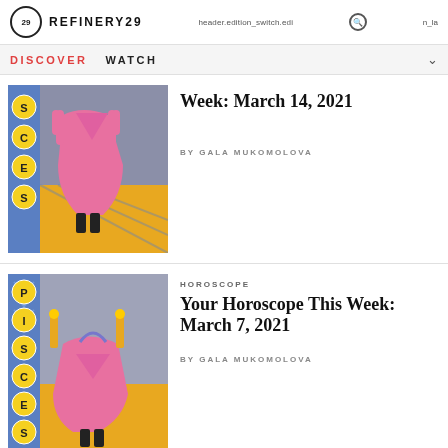REFINERY29  header.edition_switch.edition_la
DISCOVER  WATCH
[Figure (illustration): Horoscope illustration for Scorpio/Pisces with yellow letter circles spelling SCES on blue sidebar, pink figure on gray/yellow background]
Week: March 14, 2021
by GALA MUKOMOLOVA
[Figure (illustration): Horoscope illustration for Pisces with yellow letter circles spelling PISCES on blue sidebar, pink figure with candles on gray/yellow background]
HOROSCOPE
Your Horoscope This Week: March 7, 2021
by GALA MUKOMOLOVA